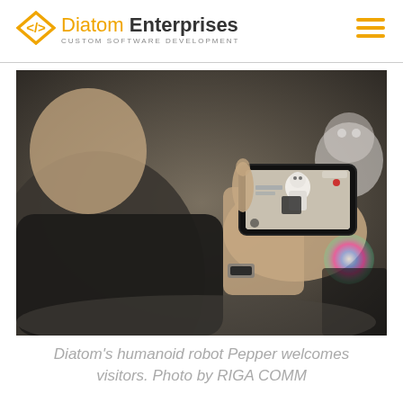Diatom Enterprises — CUSTOM SOFTWARE DEVELOPMENT
[Figure (photo): A person holding a smartphone to photograph a small humanoid robot (Pepper). The robot is visible both on the phone screen and in the background to the right. Person is wearing a dark long-sleeve top and a wristwatch.]
Diatom's humanoid robot Pepper welcomes visitors. Photo by RIGA COMM